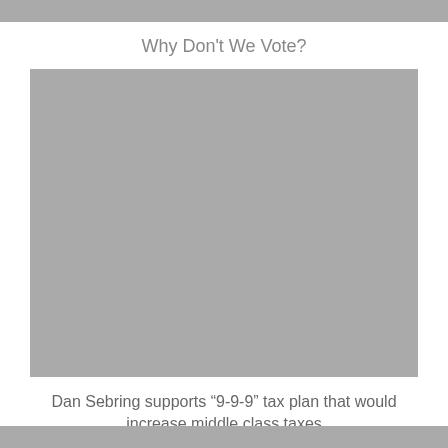Why Don’t We Vote?
[Figure (photo): Large grey placeholder image representing a photo related to Dan Sebring and the 9-9-9 tax plan]
Dan Sebring supports “9-9-9” tax plan that would increase middle class taxes